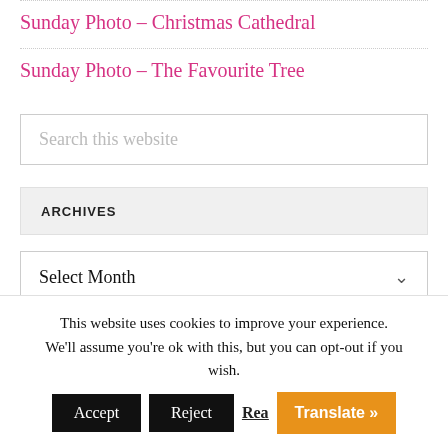Sunday Photo – Christmas Cathedral
Sunday Photo – The Favourite Tree
Search this website
ARCHIVES
Select Month
This website uses cookies to improve your experience. We'll assume you're ok with this, but you can opt-out if you wish. Accept Reject Read Translate »